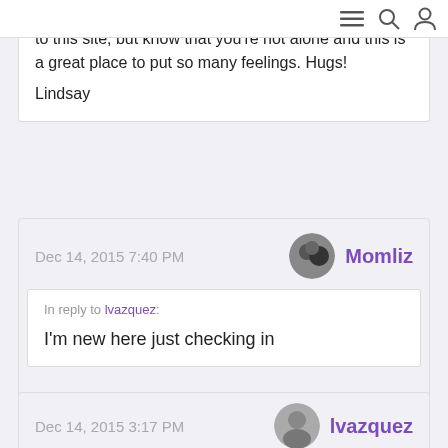[menu] [search] [user]
@Momliz, I'm sorry for the reasons that have brought you to this site, but know that you're not alone and this is a great place to put so many feelings. Hugs!

Lindsay
Dec 14, 2015 7:40 PM   Momliz
In reply to lvazquez:

I'm new here just checking in
Dec 14, 2015 3:17 PM   lvazquez